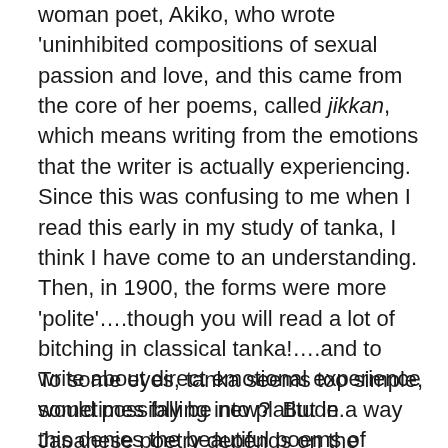woman poet, Akiko, who wrote 'uninhibited compositions of sexual passion and love, and this came from the core of her poems, called jikkan, which means writing from the emotions that the writer is actually experiencing.  Since this was confusing to me when I read this early in my study of tanka, I think I have come to an understanding.  Then, in 1900, the forms were more 'polite'….though you will read a lot of bitching in classical tanka!….and to write about direct emotional experience would possibly be new?  But in a way this denies the beautiful poems of Komachi, Shikibu, etc.  Well, maybe I don't have a clue here.
To some eyes, tanka seems too simple, sometimes falling into platitude. Japanese poetry depends on the subtlety of